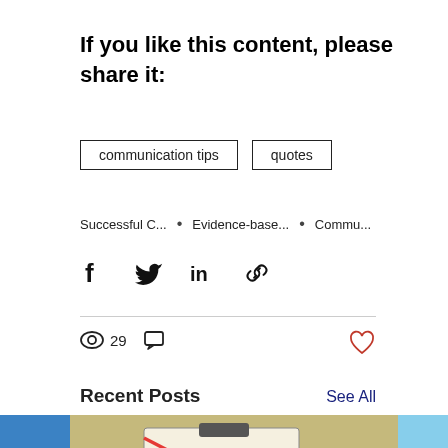If you like this content, please share it:
communication tips
quotes
Successful C... • Evidence-base... • Commu...
[Figure (infographic): Social share icons: Facebook, Twitter, LinkedIn, link/copy]
29 views, comment icon, heart/like icon
Recent Posts
See All
[Figure (photo): Three partially visible photos: left shows blue image, center shows clipboard with RESOLUTIONS text crossed out in red, right shows sunset scene]